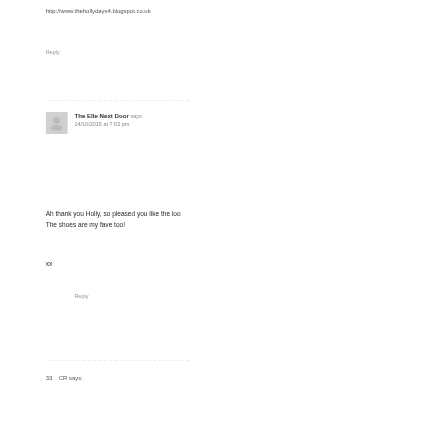http://www.thehollydays4.blogspot.co.uk
Reply
The Elle Next Door says:
14/10/2015 at 7:02 pm
Ah thank you Holly, so pleased you like the lo… The shoes are my fave too!
xx
Reply
33  CR says: